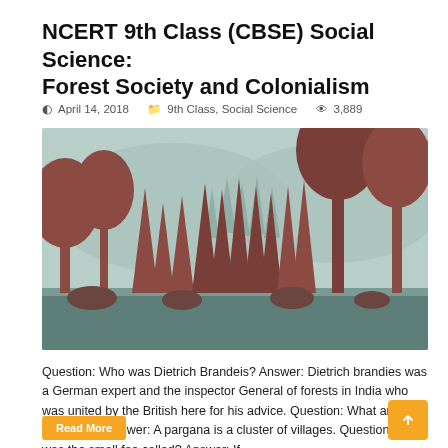NCERT 9th Class (CBSE) Social Science: Forest Society and Colonialism
April 14, 2018  9th Class, Social Science  3,889
[Figure (illustration): Stylized forest illustration with dark reddish-brown tree silhouettes against a muted teal/mint background with misty mountain shapes. Various pine and broadleaf trees of different sizes create a layered forest scene.]
Question: Who was Dietrich Brandeis? Answer: Dietrich brandies was a German expert and the inspector General of forests in India who was united by the British here for his advice. Question: What are Parganas? Answer: A pargana is a cluster of villages. Question: What was the small fee called? Answer: If …